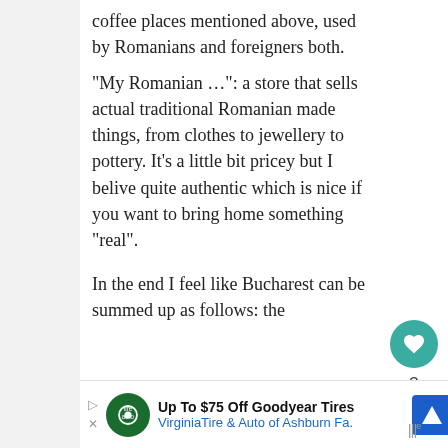coffee places mentioned above, used by Romanians and foreigners both.
“My Romanian …”: a store that sells actual traditional Romanian made things, from clothes to jewellery to pottery. It’s a little bit pricey but I belive quite authentic which is nice if you want to bring home something “real”.
In the end I feel like Bucharest can be summed up as follows: the
[Figure (other): Advertisement banner: Up To $75 Off Goodyear Tires - Virginia Tire & Auto of Ashburn Fa. with navigation arrow icon and tire auto logo]